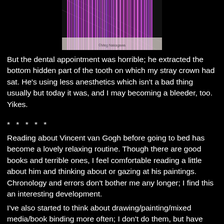[Figure (photo): A close-up photo of colorful woven or knitted fabric with vertical striped pattern in purple, pink, and orange/cream tones. A watermark reads '©Meg Nakagawa' at the bottom.]
But the dental appointment was horrible; he extracted the bottom hidden part of the tooth on which my stray crown had sat. He's using less anesthetics which isn't a bad thing usually but today it was, and I may becoming a bleeder, too. Yikes.
* * * * *
Reading about Vincent van Gogh before going to bed has become a lovely relaxing routine. Though there are good books and terrible ones, I feel comfortable reading a little about him and thinking about or gazing at his paintings. Chronology and errors don't bother me any longer; I find this an interesting development.
I've also started to think about drawing/painting/mixed media/book binding more often; I don't do them, but have